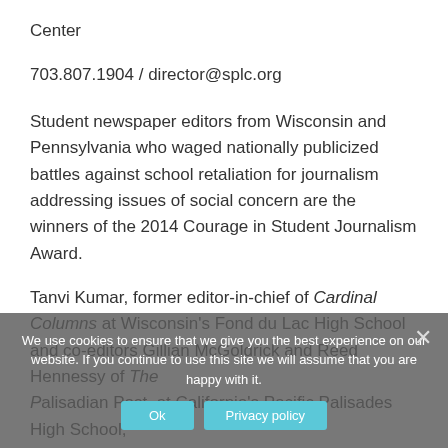Center
703.807.1904 / director@splc.org
Student newspaper editors from Wisconsin and Pennsylvania who waged nationally publicized battles against school retaliation for journalism addressing issues of social concern are the winners of the 2014 Courage in Student Journalism Award.
Tanvi Kumar, former editor-in-chief of Cardinal Columns at Wisconsin's Fond du Lac High School and co-editors Gillian McGoldrick and Reed Hennessy of The [Palisadian Post, at California's Pacific Palisades High School] will share the Courage award, presented annually to recognize students who show exceptional fortitude in overcoming adversity to bring important stories to the public.
We use cookies to ensure that we give you the best experience on our website. If you continue to use this site we will assume that you are happy with it.